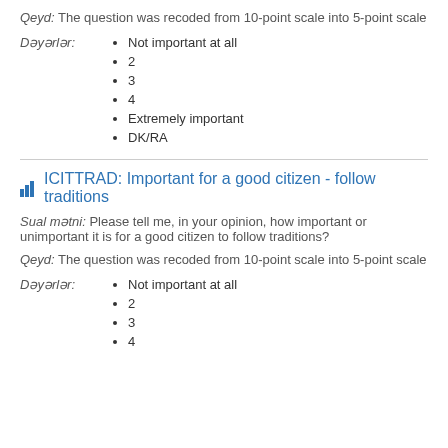Qeyd: The question was recoded from 10-point scale into 5-point scale
Not important at all
2
3
4
Extremely important
DK/RA
ICITTRAD: Important for a good citizen - follow traditions
Sual mətni: Please tell me, in your opinion, how important or unimportant it is for a good citizen to follow traditions?
Qeyd: The question was recoded from 10-point scale into 5-point scale
Not important at all
2
3
4